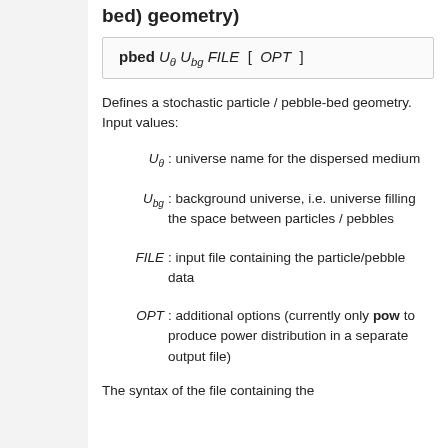bed) geometry)
Defines a stochastic particle / pebble-bed geometry. Input values:
U_θ : universe name for the dispersed medium
U_bg : background universe, i.e. universe filling the space between particles / pebbles
FILE : input file containing the particle/pebble data
OPT : additional options (currently only pow to produce power distribution in a separate output file)
The syntax of the file containing the